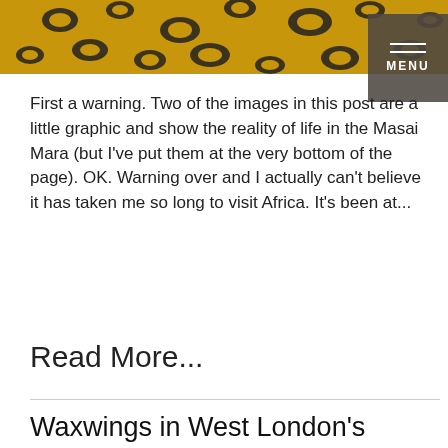[Figure (photo): Close-up photo of a leopard's spotted fur coat on golden background, cropped to top strip]
First a warning. Two of the images in this post are a little graphic and show the reality of life in the Masai Mara (but I've put them at the very bottom of the page). OK. Warning over and I actually can't believe it has taken me so long to visit Africa. It's been at...
Read More...
Waxwings in West London's suburbia
POSTED IN UK WILDLIFE, WILDLIFE
[Figure (photo): Photo of a waxwing bird next to a branch with white berries, against a grey background]